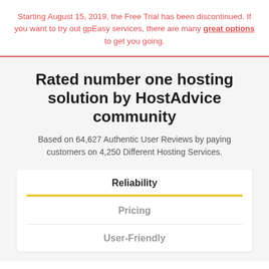Starting August 15, 2019, the Free Trial has been discontinued. If you want to try out gpEasy services, there are many great options to get you going.
Rated number one hosting solution by HostAdvice community
Based on 64,627 Authentic User Reviews by paying customers on 4,250 Different Hosting Services.
Reliability
Pricing
User-Friendly